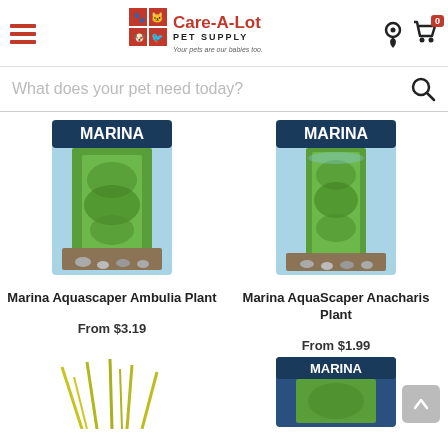Care-A-Lot Pet Supply — Your pets are our babies too!
What does your pet need today?
[Figure (photo): Marina Aquascaper Ambulia Plant product image in packaging]
Marina Aquascaper Ambulia Plant
From $3.19
[Figure (photo): Marina AquaScaper Anacharis Plant product image in packaging]
Marina AquaScaper Anacharis Plant
From $1.99
[Figure (photo): Aquatic plant product partially visible at bottom left]
[Figure (photo): Marina branded aquatic product partially visible at bottom right]